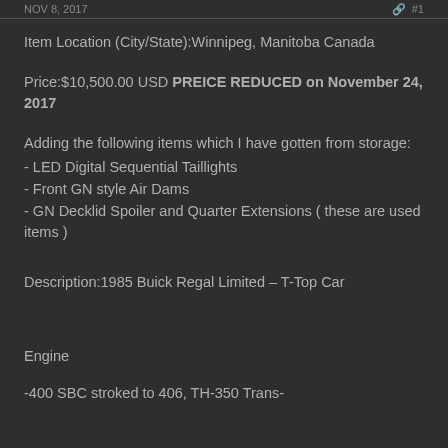NOV 8, 2017  #1
Item Location (City/State):Winnipeg, Manitoba Canada
Price:$10,500.00 USD PREICE REDUCED on November 24, 2017
Adding the following items which I have gotten from storage:
- LED Digital Sequential Taillights
- Front GN style Air Dams
- GN Decklid Spoiler and Quarter Extensions ( these are used items )
Description:1985 Buick Regal Limited – T-Top Car
Engine
-400 SBC stroked to 406, TH-350 Trans-